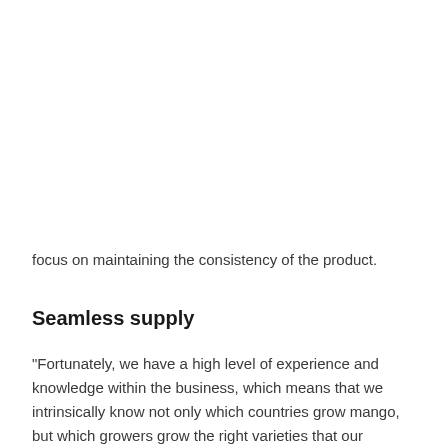focus on maintaining the consistency of the product.
Seamless supply
“Fortunately, we have a high level of experience and knowledge within the business, which means that we intrinsically know not only which countries grow mango, but which growers grow the right varieties that our customers demand, at the right time of year.